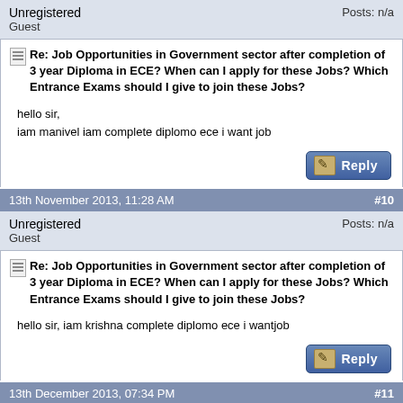Unregistered
Guest
Posts: n/a
Re: Job Opportunities in Government sector after completion of 3 year Diploma in ECE? When can I apply for these Jobs? Which Entrance Exams should I give to join these Jobs?
hello sir,
iam manivel iam complete diplomo ece i want job
13th November 2013, 11:28 AM
#10
Unregistered
Guest
Posts: n/a
Re: Job Opportunities in Government sector after completion of 3 year Diploma in ECE? When can I apply for these Jobs? Which Entrance Exams should I give to join these Jobs?
hello sir, iam krishna complete diplomo ece i wantjob
13th December 2013, 07:34 PM
#11
Unregistered
Guest
Posts: n/a
Re: Job Opportunities in Government sector after completion of 3 year